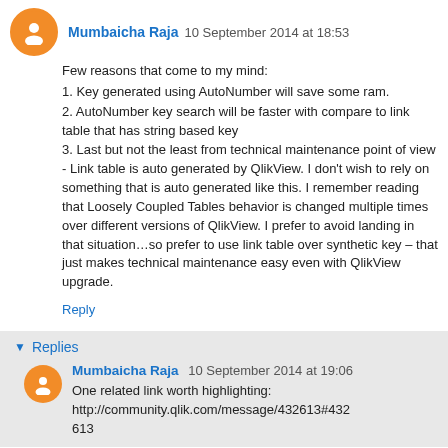Mumbaicha Raja  10 September 2014 at 18:53
Few reasons that come to my mind:
1. Key generated using AutoNumber will save some ram.
2. AutoNumber key search will be faster with compare to link table that has string based key
3. Last but not the least from technical maintenance point of view - Link table is auto generated by QlikView. I don't wish to rely on something that is auto generated like this. I remember reading that Loosely Coupled Tables behavior is changed multiple times over different versions of QlikView. I prefer to avoid landing in that situation…so prefer to use link table over synthetic key – that just makes technical maintenance easy even with QlikView upgrade.
Reply
Replies
Mumbaicha Raja  10 September 2014 at 19:06
One related link worth highlighting: http://community.qlik.com/message/432613#432613